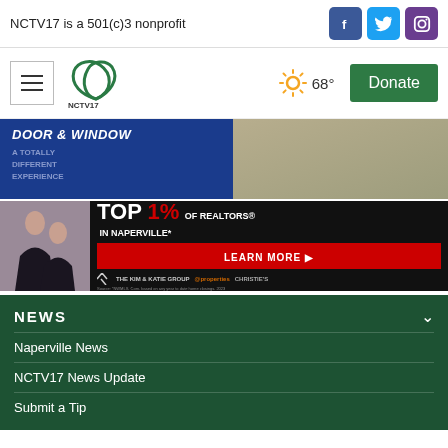NCTV17 is a 501(c)3 nonprofit
[Figure (logo): NCTV17 logo with hamburger menu, weather (68°), and Donate button]
[Figure (photo): Door & Window advertisement - A Totally Different Experience]
[Figure (photo): Top 1% of Realtors in Naperville - The Kim & Katie Group advertisement]
NEWS
Naperville News
NCTV17 News Update
Submit a Tip